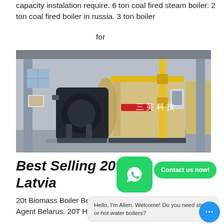capacity instalation require. 6 ton coal fired steam boiler. 2 ton coal fired boiler in russia. 3 ton boiler
for
[Figure (photo): Industrial boiler room with large horizontal steam boiler (beige/tan colored cylindrical tank), yellow gas pipes, black burner unit, control panels, in an industrial facility.]
Best Selling 20t … al Boiler Latvia
20t Biomass Boiler Best Selling High Efficiency Belarus … ar Agent Belarus. 20T H Cng The Best Boiler -